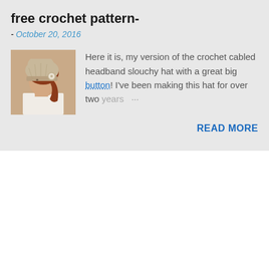free crochet pattern-
- October 20, 2016
[Figure (photo): A woman wearing a crocheted slouchy hat with a large button, viewed in profile.]
Here it is, my version of the crochet cabled headband slouchy hat with a great big button! I've been making this hat for over two years …
READ MORE